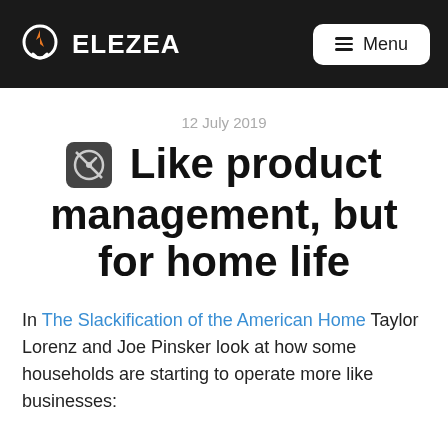ELEZEA | Menu
12 July 2019
🧭 Like product management, but for home life
In The Slackification of the American Home Taylor Lorenz and Joe Pinsker look at how some households are starting to operate more like businesses: